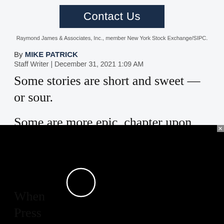[Figure (other): Contact Us button with dark navy background and white text]
Raymond James & Associates, Inc., member New York Stock Exchange/SIPC.
By MIKE PATRICK
Staff Writer | December 31, 2021 1:09 AM
Some stories are short and sweet — or sour.
Some are more epic, chapter upon chapter — not single snapshots but slideshows. (Hint: The two “stories” tied for No. 1 fall into this category.)
When Press newsm reporters got toget their humble opini
[Figure (screenshot): Video overlay on black background with circular loading/play indicator and orange CHESS label]